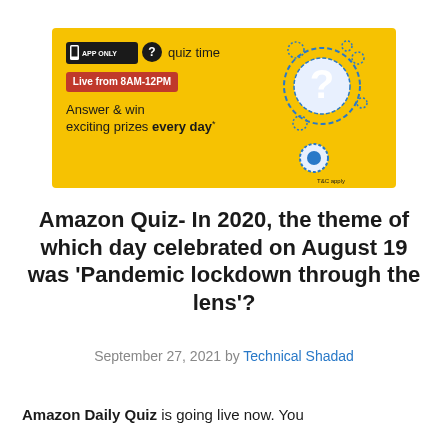[Figure (infographic): Amazon App Quiz Time banner: yellow background with a large decorative question mark made of gears on the right. Left side has 'APP ONLY' label with phone icon, question mark icon with 'quiz time' text, a red badge 'Live from 8AM-12PM', and text 'Answer & win exciting prizes every day*'. T&C apply note at bottom right.]
Amazon Quiz- In 2020, the theme of which day celebrated on August 19 was 'Pandemic lockdown through the lens'?
September 27, 2021 by Technical Shadad
Amazon Daily Quiz is going live now. You